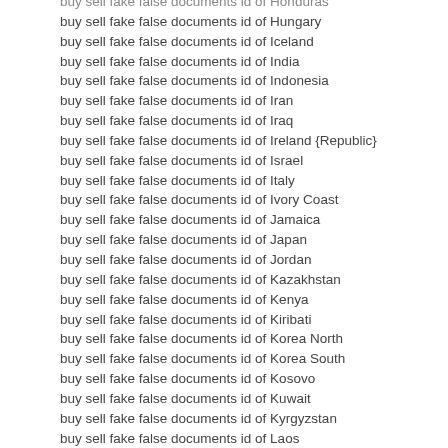buy sell fake false documents id of Honduras
buy sell fake false documents id of Hungary
buy sell fake false documents id of Iceland
buy sell fake false documents id of India
buy sell fake false documents id of Indonesia
buy sell fake false documents id of Iran
buy sell fake false documents id of Iraq
buy sell fake false documents id of Ireland {Republic}
buy sell fake false documents id of Israel
buy sell fake false documents id of Italy
buy sell fake false documents id of Ivory Coast
buy sell fake false documents id of Jamaica
buy sell fake false documents id of Japan
buy sell fake false documents id of Jordan
buy sell fake false documents id of Kazakhstan
buy sell fake false documents id of Kenya
buy sell fake false documents id of Kiribati
buy sell fake false documents id of Korea North
buy sell fake false documents id of Korea South
buy sell fake false documents id of Kosovo
buy sell fake false documents id of Kuwait
buy sell fake false documents id of Kyrgyzstan
buy sell fake false documents id of Laos
buy sell fake false documents id of Latvia